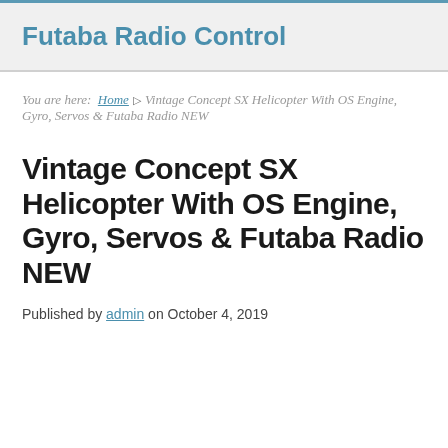Futaba Radio Control
You are here: Home ▶ Vintage Concept SX Helicopter With OS Engine, Gyro, Servos & Futaba Radio NEW
Vintage Concept SX Helicopter With OS Engine, Gyro, Servos & Futaba Radio NEW
Published by admin on October 4, 2019